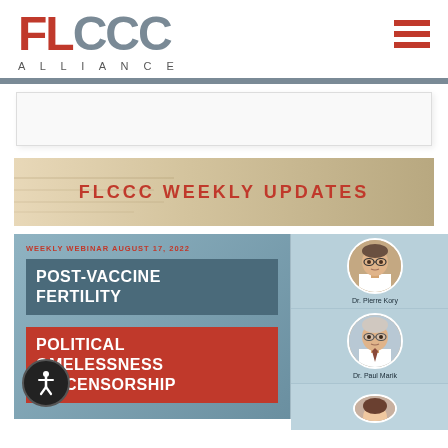[Figure (logo): FLCCC Alliance logo with red FL and gray CCC letters, ALLIANCE text below]
[Figure (other): Hamburger menu icon with three red horizontal bars]
[Figure (other): White placeholder ad box with light border]
[Figure (other): FLCCC Weekly Updates banner with beige/tan background and red bold text]
[Figure (infographic): Webinar promotional card for August 17 2022 showing POST-VACCINE FERTILITY and POLITICAL HOMELESSNESS AND CENSORSHIP titles with doctor photos of Dr. Pierre Kory and Dr. Paul Marik on right side]